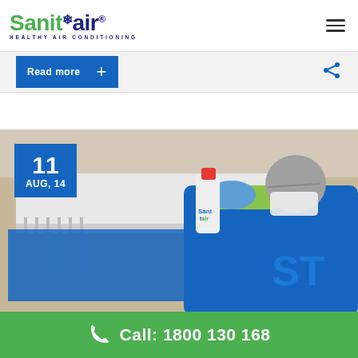[Figure (logo): Sanitair Healthy Air Conditioning logo — green 'Sanit' and blue 'air' wordmark with blue snowflake asterisk above and tagline 'HEALTHY AIR CONDITIONING' below]
Read more +
[Figure (photo): Sanitair technician in blue uniform and yellow lanyard wearing a mask and gloves, using a spray bottle to clean an air conditioning unit. A blue tarp covers the unit. Date badge reads '11 AUG, 14'.]
Call: 1800 130 168